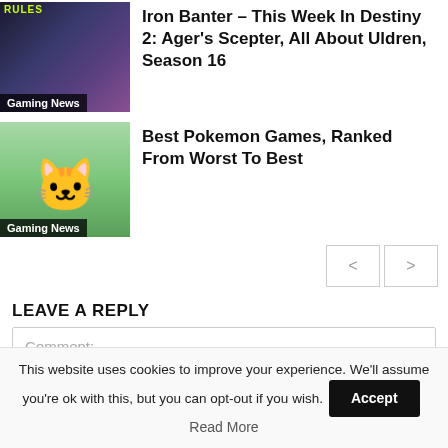[Figure (screenshot): Gaming News thumbnail for Destiny 2 article with dark purple/blue background and 'RULES' text in yellow-green]
Iron Banter – This Week In Destiny 2: Ager's Scepter, All About Uldren, Season 16
[Figure (photo): Gaming News thumbnail showing Pikachu (yellow Pokemon) with surprised expression against green background]
Best Pokemon Games, Ranked From Worst To Best
< >
LEAVE A REPLY
Comment:
This website uses cookies to improve your experience. We'll assume you're ok with this, but you can opt-out if you wish. Accept Read More